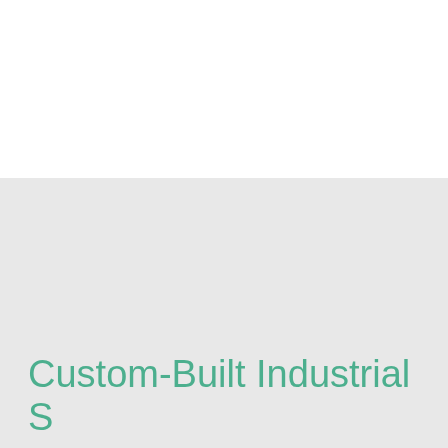[Figure (photo): White upper section of the page, likely containing an image that is not visible in this portion of the document.]
Custom-Built Industrial Systems for the